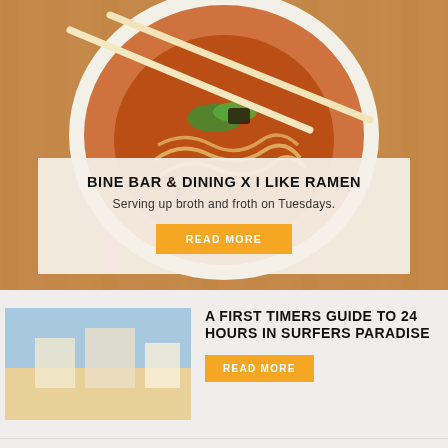[Figure (photo): Overhead photo of a bowl of ramen with chopsticks resting across the top, on a wooden table background]
BINE BAR & DINING X I LIKE RAMEN
Serving up broth and froth on Tuesdays.
READ MORE
[Figure (photo): Thumbnail image placeholder for Surfers Paradise article]
A FIRST TIMERS GUIDE TO 24 HOURS IN SURFERS PARADISE
READ MORE
COMUNA CANTINA